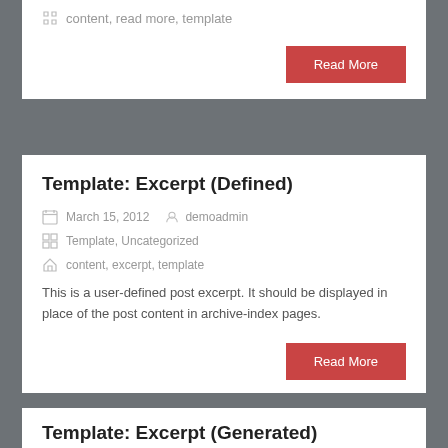content, read more, template
Read More
Template: Excerpt (Defined)
March 15, 2012  demoadmin
Template, Uncategorized
content, excerpt, template
This is a user-defined post excerpt. It should be displayed in place of the post content in archive-index pages.
Read More
Template: Excerpt (Generated)